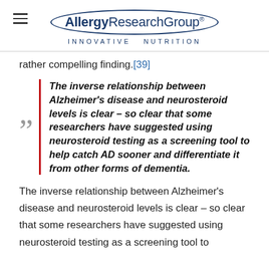AllergyResearchGroup® Innovative Nutrition
rather compelling finding.[39]
The inverse relationship between Alzheimer's disease and neurosteroid levels is clear – so clear that some researchers have suggested using neurosteroid testing as a screening tool to help catch AD sooner and differentiate it from other forms of dementia.
The inverse relationship between Alzheimer's disease and neurosteroid levels is clear – so clear that some researchers have suggested using neurosteroid testing as a screening tool to